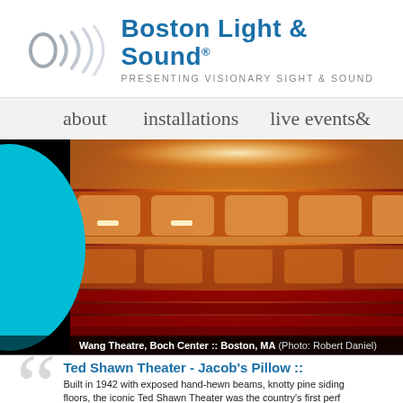[Figure (logo): Boston Light & Sound logo with circular wave icon and text 'Boston Light & Sound® PRESENTING VISIONARY SIGHT & SOUND']
about    installations    live events &
[Figure (photo): Interior of Wang Theatre, Boch Center, Boston MA - a grand ornate theatre showing multiple balcony levels with red seats, gold decorative details, and warm amber lighting. Photo credit: Robert Daniel.]
Wang Theatre, Boch Center :: Boston, MA (Photo: Robert Daniel)
Ted Shawn Theater - Jacob's Pillow ::
Built in 1942 with exposed hand-hewn beams, knotty pine siding floors, the iconic Ted Shawn Theater was the country's first perf specifically for dance. Theatrical technology has transform...